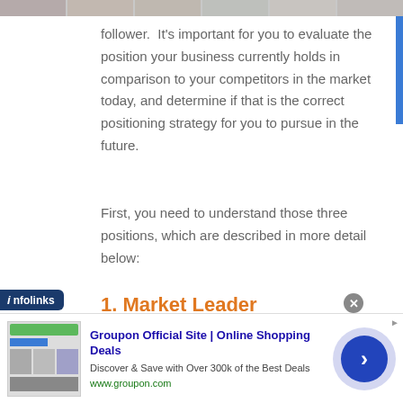follower.  It's important for you to evaluate the position your business currently holds in comparison to your competitors in the market today, and determine if that is the correct positioning strategy for you to pursue in the future.
First, you need to understand those three positions, which are described in more detail below:
1. Market Leader